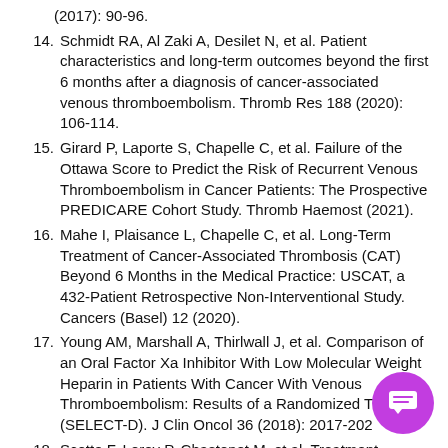(2017): 90-96.
14. Schmidt RA, Al Zaki A, Desilet N, et al. Patient characteristics and long-term outcomes beyond the first 6 months after a diagnosis of cancer-associated venous thromboembolism. Thromb Res 188 (2020): 106-114.
15. Girard P, Laporte S, Chapelle C, et al. Failure of the Ottawa Score to Predict the Risk of Recurrent Venous Thromboembolism in Cancer Patients: The Prospective PREDICARE Cohort Study. Thromb Haemost (2021).
16. Mahe I, Plaisance L, Chapelle C, et al. Long-Term Treatment of Cancer-Associated Thrombosis (CAT) Beyond 6 Months in the Medical Practice: USCAT, a 432-Patient Retrospective Non-Interventional Study. Cancers (Basel) 12 (2020).
17. Young AM, Marshall A, Thirlwall J, et al. Comparison of an Oral Factor Xa Inhibitor With Low Molecular Weight Heparin in Patients With Cancer With Venous Thromboembolism: Results of a Randomized Trial (SELECT-D). J Clin Oncol 36 (2018): 2017-2023.
18. Scotte F, Leroy P, Chastenet M, et al. Treatment...